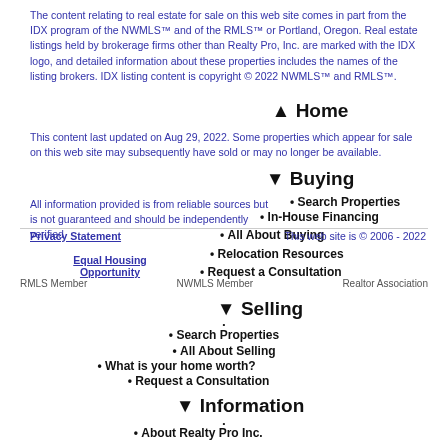The content relating to real estate for sale on this web site comes in part from the IDX program of the NWMLS™ and of the RMLS™ or Portland, Oregon. Real estate listings held by brokerage firms other than Realty Pro, Inc. are marked with the IDX logo, and detailed information about these properties includes the names of the listing brokers. IDX listing content is copyright © 2022 NWMLS™ and RMLS™.
This content last updated on Aug 29, 2022. Some properties which appear for sale on this web site may subsequently have sold or may no longer be available.
All information provided is from reliable sources but is not guaranteed and should be independently verified.
▲ Home
▼ Buying
Search Properties
In-House Financing
All About Buying
Relocation Resources
Request a Consultation
▼ Selling
Search Properties
All About Selling
What is your home worth?
Request a Consultation
▼ Information
About Realty Pro Inc.
Vancouver Washington
Schools & Colleges
Area Weather
Privacy Statement | Equal Housing Opportunity | RMLS Member | NWMLS Member | Realtor Association | This web site is © 2006 - 2022